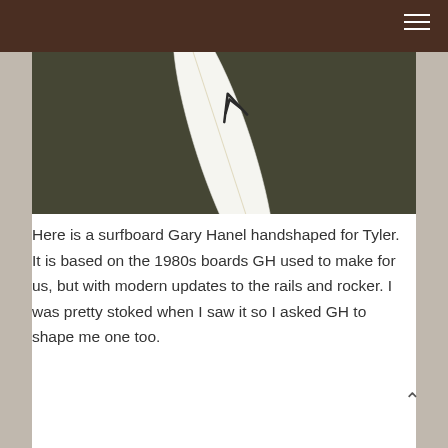[Figure (photo): A white surfboard with a logo/stamp mark, photographed from above against a dark olive/khaki background. The tip of the surfboard is pointing upward-right.]
Here is a surfboard Gary Hanel handshaped for Tyler. It is based on the 1980s boards GH used to make for us, but with modern updates to the rails and rocker. I was pretty stoked when I saw it so I asked GH to shape me one too.